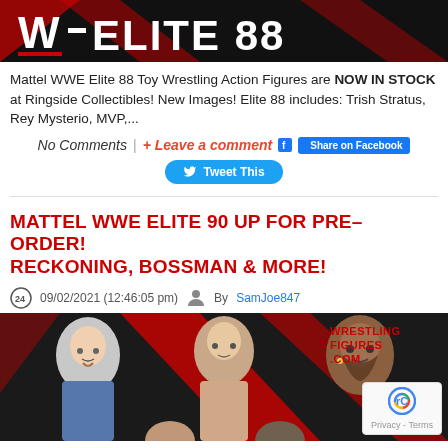[Figure (photo): WWE Elite 88 promotional banner with red and black logo text on dark background]
Mattel WWE Elite 88 Toy Wrestling Action Figures are NOW IN STOCK at Ringside Collectibles! New Images! Elite 88 includes: Trish Stratus, Rey Mysterio, MVP,...
No Comments | + Leave a comment  Share on Facebook  Tweet This
MATTEL WWE ELITE 90 UP FOR PRE-ORDER! RECKONING, BOSSMAN & MORE!
09/02/2021 (12:46:05 pm)  By SamJoe847
[Figure (photo): WWE Elite 90 promotional image featuring wrestlers including a man in police uniform, Randy Orton, and others, with Wrestling Figures .com text in red on dark background]